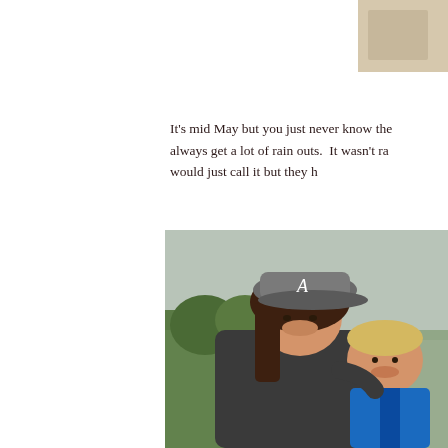[Figure (photo): Partial photo visible in top right corner of page, showing a cropped fragment of a person or scene]
It's mid May but you just never know the always get a lot of rain outs.  It wasn't ra would just call it but they h
[Figure (photo): A woman wearing a dark gray baseball cap with letter 'A' and dark jacket, smiling with a young blond boy in a blue soccer jersey, outdoors at a sports field with green trees in background]